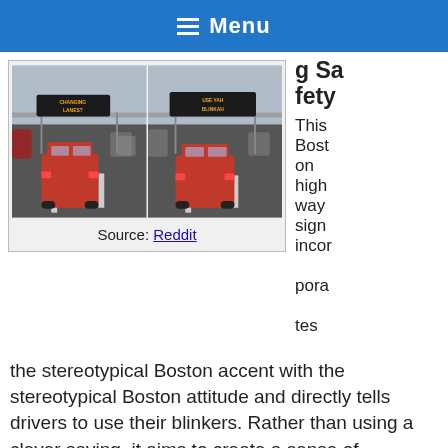Menu
[Figure (photo): Two side-by-side highway photos showing electronic message signs over a multi-lane highway with a red pickup truck. Left sign reads 'CHANGING LANES?' and right sign reads 'USE YAH BLINKAH']
Source: Reddit
g Safety
This Boston highway sign incorporates the stereotypical Boston accent with the stereotypical Boston attitude and directly tells drivers to use their blinkers. Rather than using a clever saying, it aims to create a sense of familiarity with the driver by using